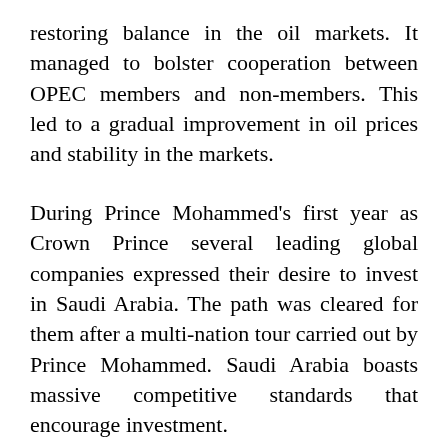restoring balance in the oil markets. It managed to bolster cooperation between OPEC members and non-members. This led to a gradual improvement in oil prices and stability in the markets.
During Prince Mohammed's first year as Crown Prince several leading global companies expressed their desire to invest in Saudi Arabia. The path was cleared for them after a multi-nation tour carried out by Prince Mohammed. Saudi Arabia boasts massive competitive standards that encourage investment.